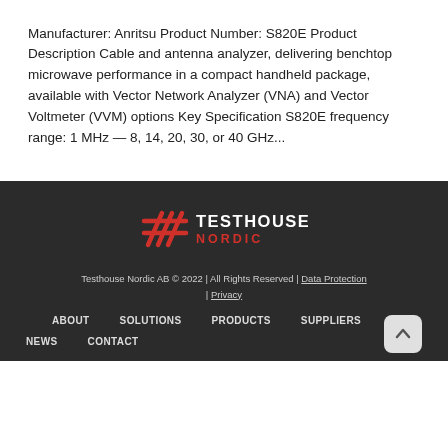Manufacturer: Anritsu Product Number: S820E Product Description Cable and antenna analyzer, delivering benchtop microwave performance in a compact handheld package, available with Vector Network Analyzer (VNA) and Vector Voltmeter (VVM) options Key Specification S820E frequency range: 1 MHz — 8, 14, 20, 30, or 40 GHz...
[Figure (logo): Testhouse Nordic logo — red geometric hash mark icon beside text 'TESTHOUSE NORDIC' in white/red on dark background]
Testhouse Nordic AB © 2022 | All Rights Reserved | Data Protection | Privacy
ABOUT   SOLUTIONS   PRODUCTS   SUPPLIERS
NEWS   CONTACT